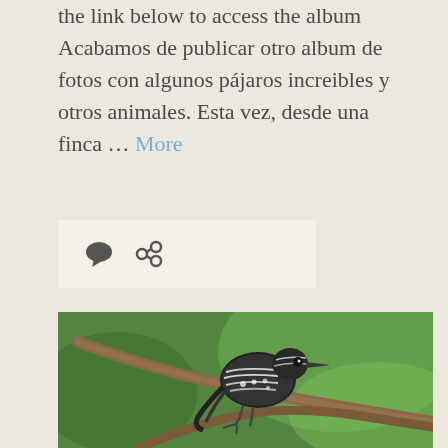the link below to access the album Acabamos de publicar otro album de fotos con algunos pájaros increibles y otros animales. Esta vez, desde una finca … More
[Figure (other): Icon bar with speech bubble and link icons on a light beige background]
[Figure (photo): A barred antshrike or similar striped black and white bird perched on a branch with green blurred background]